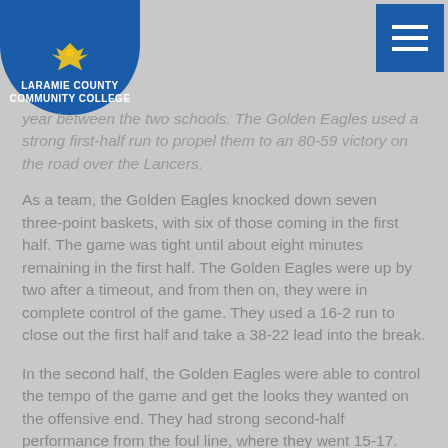[Figure (logo): Laramie County Community College logo — blue circle with eagle and white text]
year between the two schools. The Golden Eagles used a strong first-half run to propel them to an 80-59 victory on the road over the Lancers.
As a team, the Golden Eagles knocked down seven three-point baskets, with six of those coming in the first half. The game was tight until about eight minutes remaining in the first half. The Golden Eagles were up by two after a timeout, and from then on, they were in complete control of the game. They used a 16-2 run to close out the first half and take a 38-22 lead into the break.
In the second half, the Golden Eagles were able to control the tempo of the game and get the looks they wanted on the offensive end. They had strong second-half performance from the foul line, where they went 15-17. Freshman Alexis Dargenton led the Golden Eagles with the lone double-double of the game, scoring 16 points and pulling down 12 rebounds. Sophomores Spencer Sevjcar and Darien Fernandez had 19 points and 18